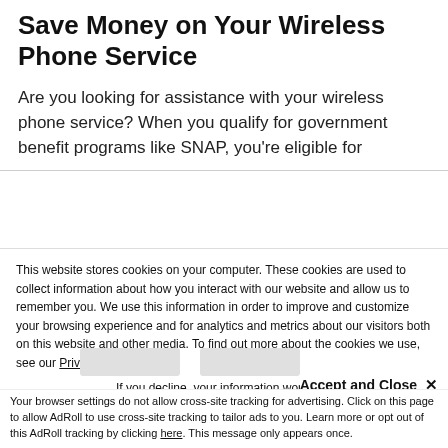Save Money on Your Wireless Phone Service
Are you looking for assistance with your wireless phone service? When you qualify for government benefit programs like SNAP, you're eligible for
This website stores cookies on your computer. These cookies are used to collect information about how you interact with our website and allow us to remember you. We use this information in order to improve and customize your browsing experience and for analytics and metrics about our visitors both on this website and other media. To find out more about the cookies we use, see our Privacy Policy.
If you decline, your information won't be tracked when you visit this website. A single cookie will be used in your browser to remember your preference not to be tracked.
Accept and Close ✕
Your browser settings do not allow cross-site tracking for advertising. Click on this page to allow AdRoll to use cross-site tracking to tailor ads to you. Learn more or opt out of this AdRoll tracking by clicking here. This message only appears once.